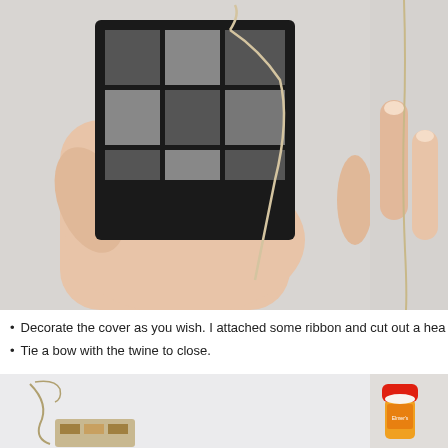[Figure (photo): Two side-by-side photos: left shows a hand holding a black decorated item (possibly a notebook cover) threaded with twine/string; right shows a close-up of fingers holding twine against a light background.]
Decorate the cover as you wish. I attached some ribbon and cut out a hea
Tie a bow with the twine to close.
[Figure (photo): Two side-by-side photos at bottom: left shows twine/string and a decorated item on a white background; right shows a glue stick (Elmer's brand, orange cap) on a white background.]